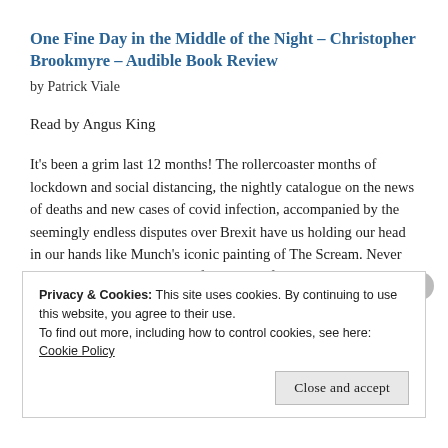One Fine Day in the Middle of the Night – Christopher Brookmyre – Audible Book Review
by Patrick Viale
Read by Angus King
It's been a grim last 12 months! The rollercoaster months of lockdown and social distancing, the nightly catalogue on the news of deaths and new cases of covid infection, accompanied by the seemingly endless disputes over Brexit have us holding our head in our hands like Munch's iconic painting of The Scream. Never have we been more in need of things to lift the spirit, to block out reality for a few hours and help us indulge in mindless relaxation. Christopher Brookmyre's anarchic and
Privacy & Cookies: This site uses cookies. By continuing to use this website, you agree to their use.
To find out more, including how to control cookies, see here: Cookie Policy
Close and accept